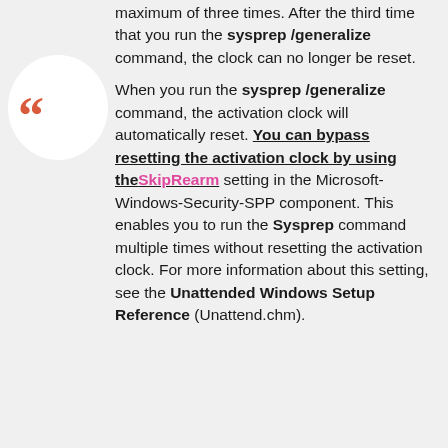maximum of three times. After the third time that you run the sysprep /generalize command, the clock can no longer be reset. When you run the sysprep /generalize command, the activation clock will automatically reset. You can bypass resetting the activation clock by using theSkipRearm setting in the Microsoft-Windows-Security-SPP component. This enables you to run the Sysprep command multiple times without resetting the activation clock. For more information about this setting, see the Unattended Windows Setup Reference (Unattend.chm).